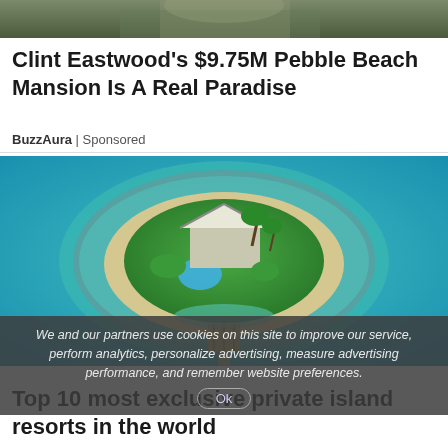[Figure (photo): Partial photo of a person in a suit at the very top of the page]
Clint Eastwood's $9.75M Pebble Beach Mansion Is A Real Paradise
BuzzAura | Sponsored
[Figure (photo): Aerial view of a small private island resort surrounded by turquoise water, with a house, pool, palm trees, and a dock]
We and our partners use cookies on this site to improve our service, perform analytics, personalize advertising, measure advertising performance, and remember website preferences.
Top 10 most exclusive private island resorts in the world